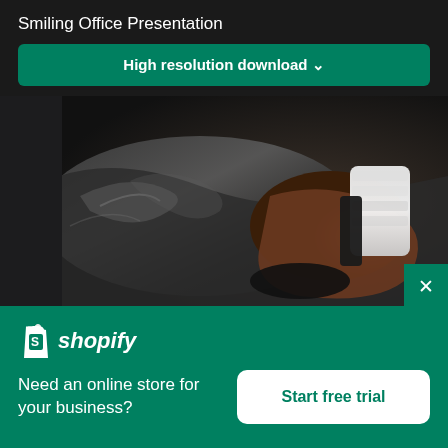Smiling Office Presentation
High resolution download ↓
[Figure (photo): Close-up dark photo of a person's arm/wrist wearing a black athletic brace/strap with white padding, holding what appears to be a dark object, shot against dark background]
[Figure (logo): Shopify logo: white shopping bag icon with 'S' and italic white text 'shopify']
Need an online store for your business?
Start free trial